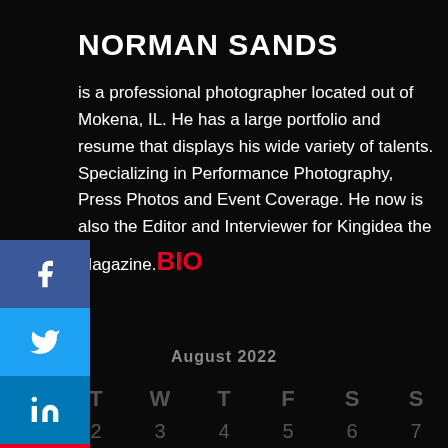NORMAN SANDS
is a professional photographer located out of Mokena, IL. He has a large portfolio and resume that displays his wide variety of talents. Specializing in Performance Photography, Press Photos and Event Coverage. He now is also the Editor and Interviewer for Kingidea the Magazine. BIO
[Figure (infographic): Social media sharing sidebar with Facebook, Twitter, LinkedIn, and Pinterest buttons]
August 2022
| M | T | W | T | F | S | S |
| --- | --- | --- | --- | --- | --- | --- |
| 1 | 2 | 3 | 4 | 5 | 6 | 7 |